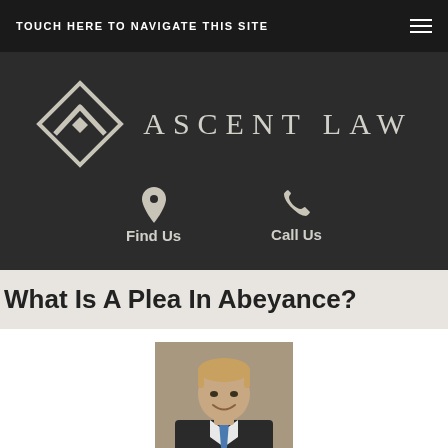TOUCH HERE TO NAVIGATE THIS SITE
[Figure (logo): Ascent Law logo with diamond/chevron icon and text 'ASCENT LAW']
Find Us
Call Us
What Is A Plea In Abeyance?
[Figure (photo): Portrait photo of a male attorney in a suit with a blue tie, smiling, with blonde hair]